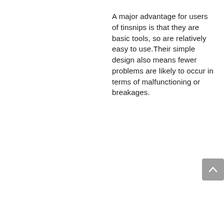A major advantage for users of tinsnips is that they are basic tools, so are relatively easy to use.Their simple design also means fewer problems are likely to occur in terms of malfunctioning or breakages.